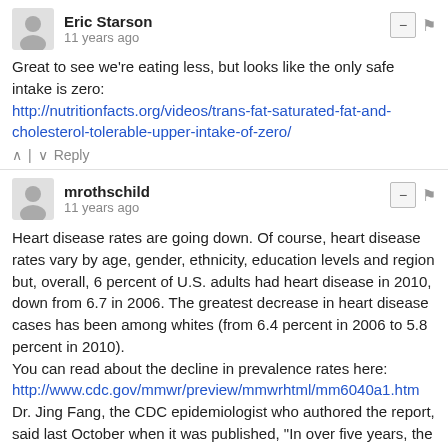[Figure (illustration): Avatar icon of Eric Starson (gray silhouette person)]
Eric Starson
11 years ago
Great to see we're eating less, but looks like the only safe intake is zero:
http://nutritionfacts.org/videos/trans-fat-saturated-fat-and-cholesterol-tolerable-upper-intake-of-zero/
^ | v  Reply
[Figure (illustration): Avatar icon of mrothschild (gray silhouette person)]
mrothschild
11 years ago
Heart disease rates are going down. Of course, heart disease rates vary by age, gender, ethnicity, education levels and region but, overall, 6 percent of U.S. adults had heart disease in 2010, down from 6.7 in 2006. The greatest decrease in heart disease cases has been among whites (from 6.4 percent in 2006 to 5.8 percent in 2010).
You can read about the decline in prevalence rates here:
http://www.cdc.gov/mmwr/preview/mmwrhtml/mm6040a1.htm
Dr. Jing Fang, the CDC epidemiologist who authored the report, said last October when it was published, "In over five years, the prevalence of heart disease has decreased significantly."